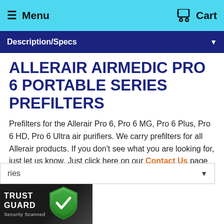Menu  Cart
Description/Specs
ALLERAIR AIRMEDIC PRO 6 PORTABLE SERIES PREFILTERS
Prefilters for the Allerair Pro 6, Pro 6 MG, Pro 6 Plus, Pro 6 HD, Pro 6 Ultra air purifiers. We carry prefilters for all Allerair products. If you don't see what you are looking for, just let us know. Just click here on our Contact Us page for a list of ways to reach us.
ries
[Figure (logo): Trust Guard Security Scanned badge with shield icon]